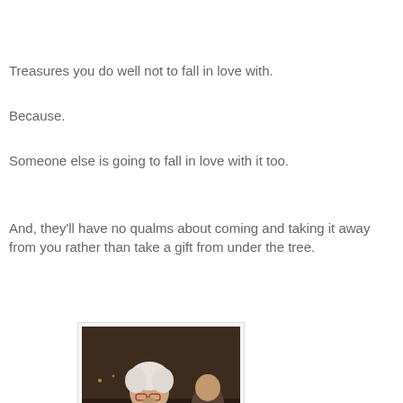Treasures you do well not to fall in love with.
Because.
Someone else is going to fall in love with it too.
And, they'll have no qualms about coming and taking it away from you rather than take a gift from under the tree.
[Figure (photo): An elderly woman with white hair and glasses looking down, wearing a red top with a light scarf, with another person partially visible in the background. The setting appears to be indoors with dim lighting.]